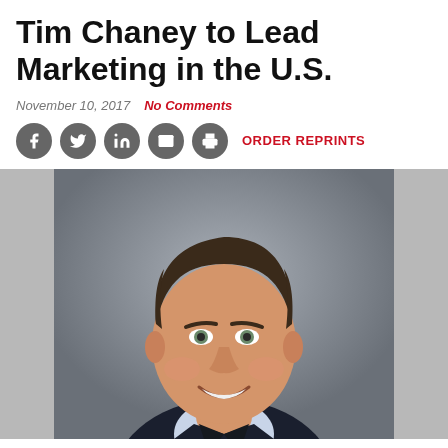Tim Chaney to Lead Marketing in the U.S.
November 10, 2017   No Comments
[Figure (photo): Professional headshot of Tim Chaney, a middle-aged man with dark hair, smiling, wearing a dark suit with a purple tie and light blue dress shirt, photographed against a grey background.]